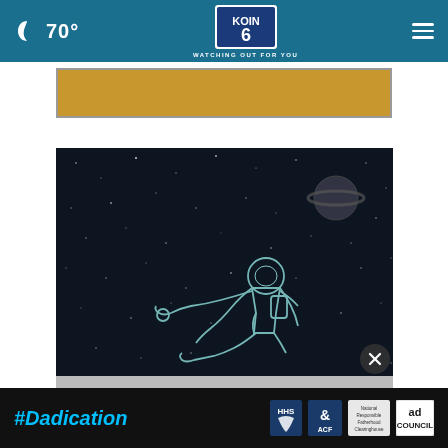🌙 70° | KOIN 6 CBS | WATCHING OUT FOR YOU
[Figure (other): Gold/yellow advertisement banner placeholder]
[Figure (illustration): Dark space scene illustration showing a floating astronaut in outline/line-art style against a starfield background, with a planet visible in the upper right]
[Figure (other): #Dadication advertisement banner with HHS, ACF, National Responsible Fatherhood Clearinghouse, and Ad Council logos]